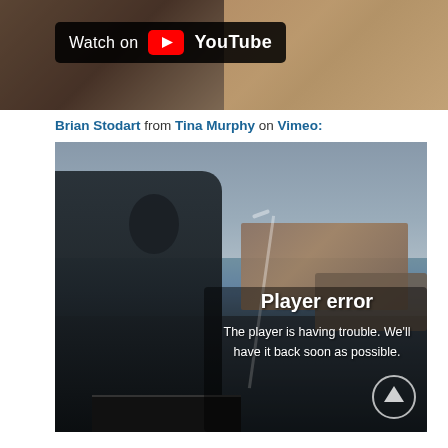[Figure (screenshot): YouTube video thumbnail with 'Watch on YouTube' badge overlay on brownish background]
Brian Stodart from Tina Murphy on Vimeo:
[Figure (screenshot): Vimeo embedded video player showing a man playing piano at a coastal outdoor venue with cliffs and buildings in background. Player error overlay reads: 'Player error — The player is having trouble. We'll have it back soon as possible.' A scroll-up circular arrow button is visible in the bottom-right corner.]